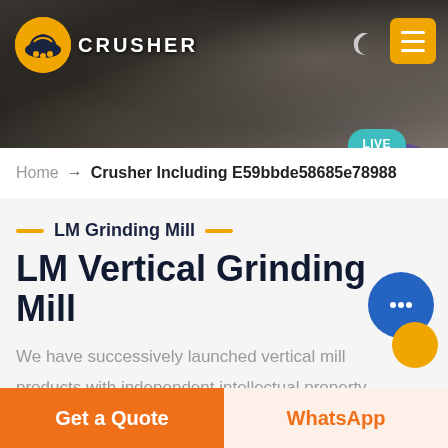[Figure (screenshot): Website header banner with dark rocky background, orange logo icon, CRUSHER text, moon icon, and yellow hamburger menu button. A teal LIVE CHAT speech bubble is in the lower right.]
Home → Crusher Including E59bbde58685e78988
— LM Grinding Mill —
LM Vertical Grinding Mill
We have successively launched vertical mill products with independent intellectual property rights. Product Features: Integration of multiple functions, more stable and reliable, production and more excellent capacity
Get a Quote
WhatsApp